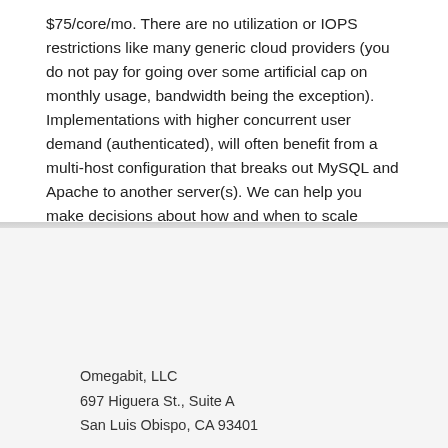$75/core/mo. There are no utilization or IOPS restrictions like many generic cloud providers (you do not pay for going over some artificial cap on monthly usage, bandwidth being the exception). Implementations with higher concurrent user demand (authenticated), will often benefit from a multi-host configuration that breaks out MySQL and Apache to another server(s). We can help you make decisions about how and when to scale vertically, horizontally, or both.
Omegabit, LLC
697 Higuera St., Suite A
San Luis Obispo, CA 93401